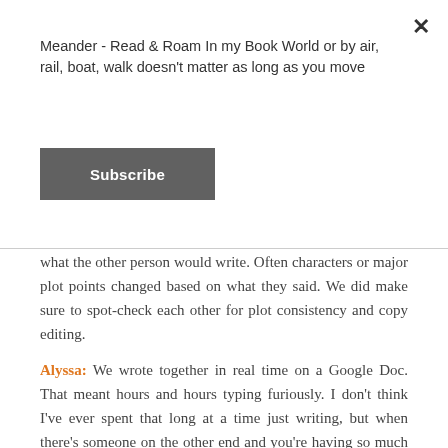Meander - Read & Roam In my Book World or by air, rail, boat, walk doesn't matter as long as you move
Subscribe
what the other person would write. Often characters or major plot points changed based on what they said. We did make sure to spot-check each other for plot consistency and copy editing.
Alyssa: We wrote together in real time on a Google Doc. That meant hours and hours typing furiously. I don't think I've ever spent that long at a time just writing, but when there's someone on the other end and you're having so much fun, writer's block and the munchies fade away.